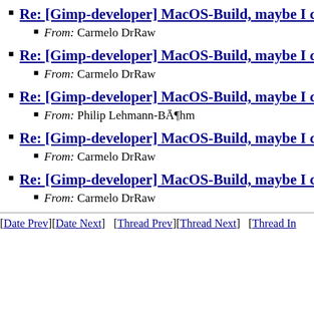Re: [Gimp-developer] MacOS-Build, maybe I co
From: Carmelo DrRaw
Re: [Gimp-developer] MacOS-Build, maybe I co
From: Carmelo DrRaw
Re: [Gimp-developer] MacOS-Build, maybe I co
From: Philip Lehmann-BĀ¶hm
Re: [Gimp-developer] MacOS-Build, maybe I co
From: Carmelo DrRaw
Re: [Gimp-developer] MacOS-Build, maybe I co
From: Carmelo DrRaw
[Date Prev][Date Next]   [Thread Prev][Thread Next]   [Thread In